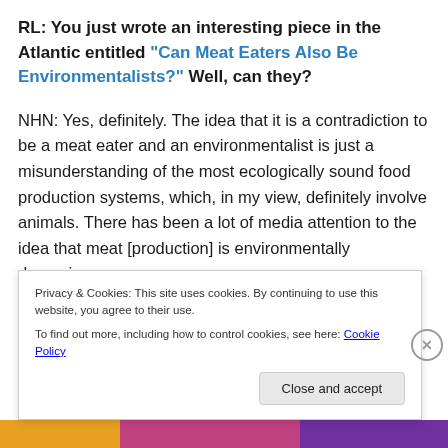RL: You just wrote an interesting piece in the Atlantic entitled "Can Meat Eaters Also Be Environmentalists?" Well, can they?
NHN: Yes, definitely. The idea that it is a contradiction to be a meat eater and an environmentalist is just a misunderstanding of the most ecologically sound food production systems, which, in my view, definitely involve animals. There has been a lot of media attention to the idea that meat [production] is environmentally damaging.
Privacy & Cookies: This site uses cookies. By continuing to use this website, you agree to their use. To find out more, including how to control cookies, see here: Cookie Policy